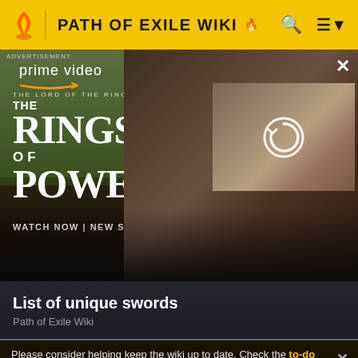PATH OF EXILE WIKI
[Figure (screenshot): Amazon Prime Video advertisement for 'The Lord of the Rings: The Rings of Power' showing characters and a reload thumbnail overlay]
List of unique swords
Path of Exile Wiki
Please consider helping keep the wiki up to date. Check the to-do list of updates needed for version 3.14.0. Game data exports will becoming later as the technical changes in addition to regular changes take some more time.